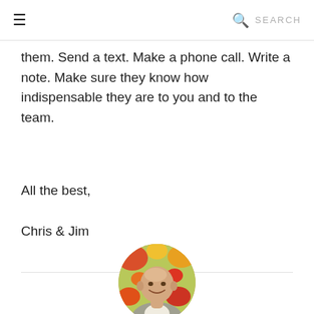≡  SEARCH
them. Send a text. Make a phone call. Write a note. Make sure they know how indispensable they are to you and to the team.
All the best,
Chris & Jim
[Figure (photo): Circular portrait photo of Jim McCann, a bald older man in a gray blazer, smiling, with colorful flowers in the background.]
AUTHOR
Jim McCann